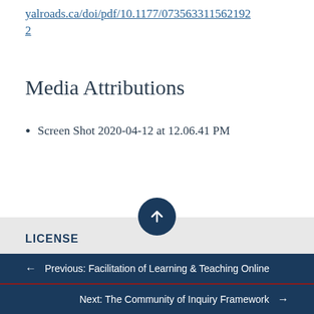yalroads.ca/doi/pdf/10.1177/073563311562192
2
Media Attributions
Screen Shot 2020-04-12 at 12.06.41 PM
LICENSE
← Previous: Facilitation of Learning & Teaching Online
Next: The Community of Inquiry Framework →